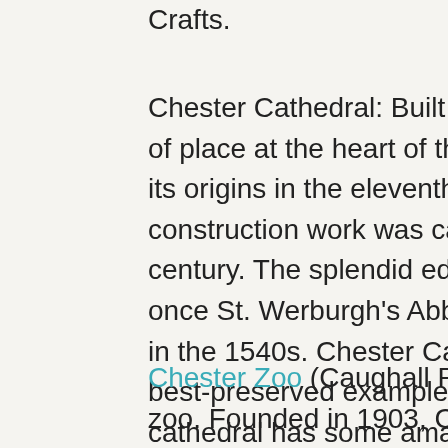Crafts.
Chester Cathedral: Built in 'stages' and occupying pride of place at the heart of the city, Chester Cathedral has its origins in the eleventh century. The last major construction work was carried out in the sixteenth century. The splendid edifice that we see today was once St. Werburgh's Abbey, which became a cathedral in the 1540s. Chester Cathedral remains one of Britain's best-preserved examples of a Benedictine abbey. The cathedral has some amazing features including the choir with its intricately carved stalls and magnificent stained glass windows.
Chester Zoo (Caughall Road, Upton): This is no ordinary zoo. Founded in 1903, Chester Zoo was truly visionary for its